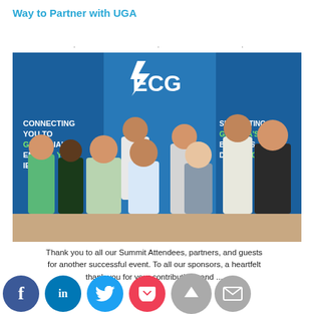Way to Partner with UGA
[Figure (photo): Group photo of approximately 9 people standing in front of ECG (Energy Council of Georgia) banners. Banners read 'CONNECTING YOU TO GEORGIA'S ENERGY CITIES.' and 'SUPPORTING GEORGIA'S BUSINESS. DEVELOPING ...']
Thank you to all our Summit Attendees, partners, and guests for another successful event. To all our sponsors, a heartfelt thank you for your contributions and ...